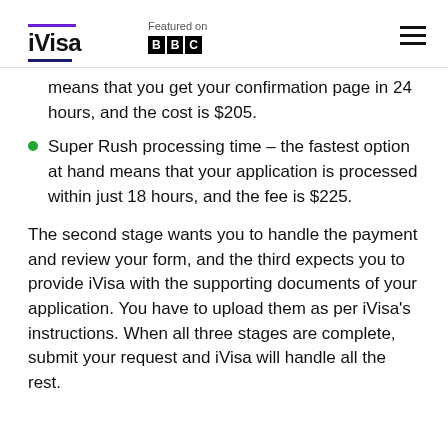iVisa — Featured on BBC
means that you get your confirmation page in 24 hours, and the cost is $205.
Super Rush processing time – the fastest option at hand means that your application is processed within just 18 hours, and the fee is $225.
The second stage wants you to handle the payment and review your form, and the third expects you to provide iVisa with the supporting documents of your application. You have to upload them as per iVisa's instructions. When all three stages are complete, submit your request and iVisa will handle all the rest.